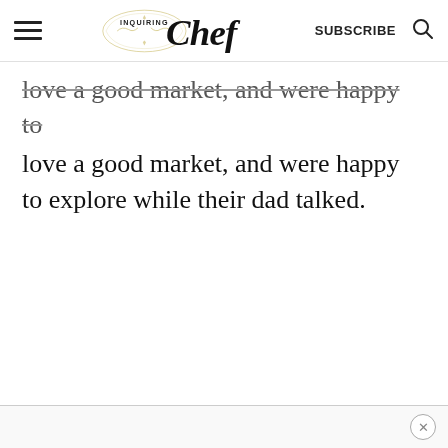Inquiring Chef | SUBSCRIBE
love a good market, and were happy to explore while their dad talked.